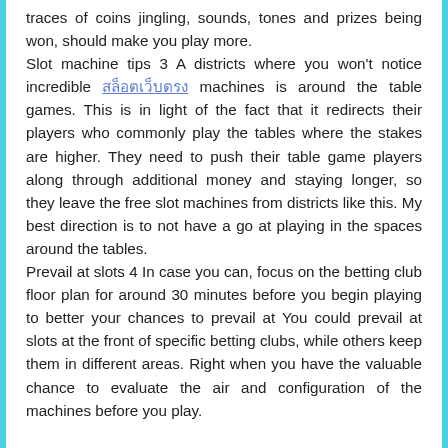traces of coins jingling, sounds, tones and prizes being won, should make you play more.
Slot machine tips 3 A districts where you won't notice incredible [link text] machines is around the table games. This is in light of the fact that it redirects their players who commonly play the tables where the stakes are higher. They need to push their table game players along through additional money and staying longer, so they leave the free slot machines from districts like this. My best direction is to not have a go at playing in the spaces around the tables.
Prevail at slots 4 In case you can, focus on the betting club floor plan for around 30 minutes before you begin playing to better your chances to prevail at You could prevail at slots at the front of specific betting clubs, while others keep them in different areas. Right when you have the valuable chance to evaluate the air and configuration of the machines before you play.